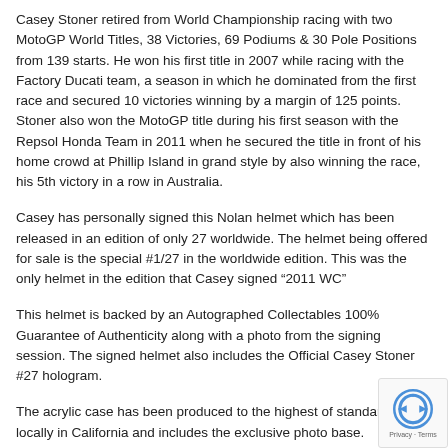Casey Stoner retired from World Championship racing with two MotoGP World Titles, 38 Victories, 69 Podiums & 30 Pole Positions from 139 starts. He won his first title in 2007 while racing with the Factory Ducati team, a season in which he dominated from the first race and secured 10 victories winning by a margin of 125 points. Stoner also won the MotoGP title during his first season with the Repsol Honda Team in 2011 when he secured the title in front of his home crowd at Phillip Island in grand style by also winning the race, his 5th victory in a row in Australia.
Casey has personally signed this Nolan helmet which has been released in an edition of only 27 worldwide. The helmet being offered for sale is the special #1/27 in the worldwide edition. This was the only helmet in the edition that Casey signed “2011 WC”
This helmet is backed by an Autographed Collectables 100% Guarantee of Authenticity along with a photo from the signing session. The signed helmet also includes the Official Casey Stoner #27 hologram.
The acrylic case has been produced to the highest of standards locally in California and includes the exclusive photo base.
Cased Size: 43.75 x 41.25 x 30cm High / 17.5 x 16.5 x 12" High